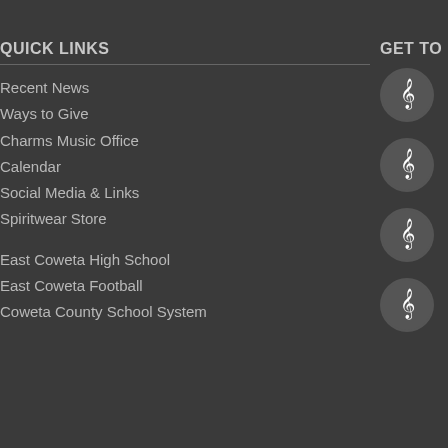QUICK LINKS
Recent News
Ways to Give
Charms Music Office
Calendar
Social Media & Links
Spiritwear Store
East Coweta High School
East Coweta Football
Coweta County School System
GET TO KNOW US
Concert B
East Cow
Wintergua
Percussio